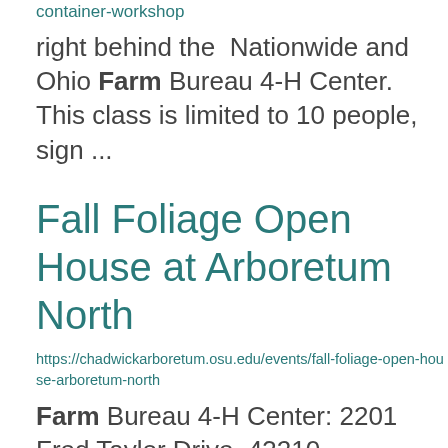container-workshop
right behind the Nationwide and Ohio Farm Bureau 4-H Center. This class is limited to 10 people, sign ...
Fall Foliage Open House at Arboretum North
https://chadwickarboretum.osu.edu/events/fall-foliage-open-house-arboretum-north
Farm Bureau 4-H Center: 2201 Fred Taylor Drive, 43210 PARKING:    Visitors will be given a parking ... pass for free parking during the event at the Nationwide and Ohio Farm Bureau 4-H Center. If parking ...